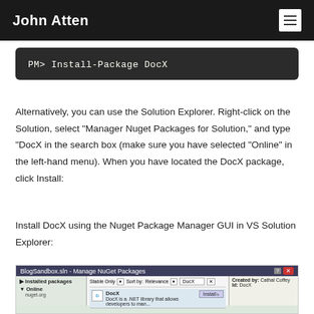John Atten
PM> Install-Package DocX
Alternatively, you can use the Solution Explorer. Right-click on the Solution, select “Manager Nuget Packages for Solution,” and type “DocX in the search box (make sure you have selected “Online” in the left-hand menu). When you have located the DocX package, click Install:
Install DocX using the Nuget Package Manager GUI in VS Solution Explorer:
[Figure (screenshot): Screenshot of the Manage NuGet Packages dialog in Visual Studio showing DocX package search results with Install button and Created by Cathal Coffey.]